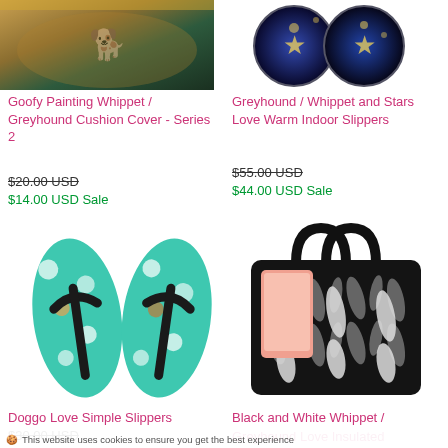[Figure (photo): Goofy Painting Whippet / Greyhound Cushion Cover product image, top cropped]
Goofy Painting Whippet / Greyhound Cushion Cover - Series 2
$20.00 USD (strikethrough)
$14.00 USD Sale
[Figure (photo): Greyhound / Whippet and Stars Love Warm Indoor Slippers product image, two circular star-patterned items]
Greyhound / Whippet and Stars Love Warm Indoor Slippers
$55.00 USD (strikethrough)
$44.00 USD Sale
[Figure (photo): Doggo Love Simple Slippers - teal/turquoise flip flops with dog face pattern]
Doggo Love Simple Slippers
$30.00 USD (strikethrough)
[Figure (photo): Black and White Whippet / Greyhound Love Insulated lunch bag with greyhound silhouette pattern]
Black and White Whippet / Greyhound Love Insulated
This website uses cookies to ensure you get the best experience